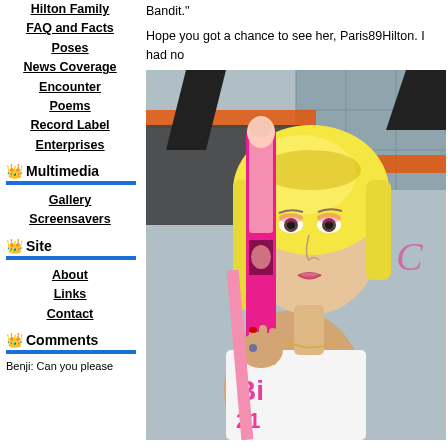Hilton Family
FAQ and Facts
Poses
News Coverage
Encounter
Poems
Record Label
Enterprises
Multimedia
Gallery
Screensavers
Site
About
Links
Contact
Comments
Benji: Can you please
Bandit."
Hope you got a chance to see her, Paris89Hilton. I had no
[Figure (photo): Photo of Paris Hilton holding a pink PEZ dispenser, wearing a white t-shirt with pink lettering, with a ring on her finger]